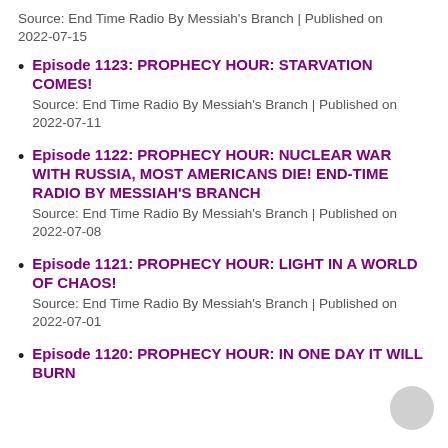Source: End Time Radio By Messiah's Branch | Published on 2022-07-15
Episode 1123: PROPHECY HOUR: STARVATION COMES!
Source: End Time Radio By Messiah's Branch | Published on 2022-07-11
Episode 1122: PROPHECY HOUR: NUCLEAR WAR WITH RUSSIA, MOST AMERICANS DIE! END-TIME RADIO BY MESSIAH'S BRANCH
Source: End Time Radio By Messiah's Branch | Published on 2022-07-08
Episode 1121: PROPHECY HOUR: LIGHT IN A WORLD OF CHAOS!
Source: End Time Radio By Messiah's Branch | Published on 2022-07-01
Episode 1120: PROPHECY HOUR: IN ONE DAY IT WILL BURN